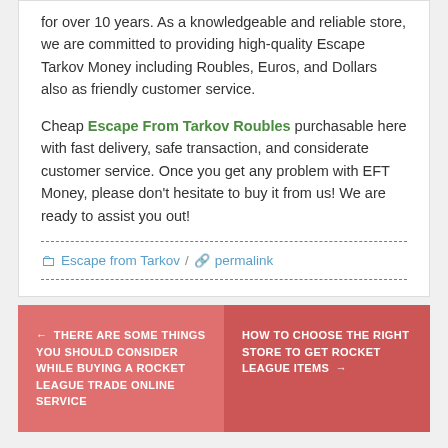for over 10 years. As a knowledgeable and reliable store, we are committed to providing high-quality Escape Tarkov Money including Roubles, Euros, and Dollars also as friendly customer service.
Cheap Escape From Tarkov Roubles purchasable here with fast delivery, safe transaction, and considerate customer service. Once you get any problem with EFT Money, please don't hesitate to buy it from us! We are ready to assist you out!
Escape from Tarkov / permalink
← THERE ARE SOME THINGS YOU SHOULD CONSIDER WHILE BUYING A ROCKET LEAGUE TRADE ONLINE SERVICE
HOW TO CHOOSE THE RIGHT STORE TO GET ROCKET LEAGUE ITEMS →